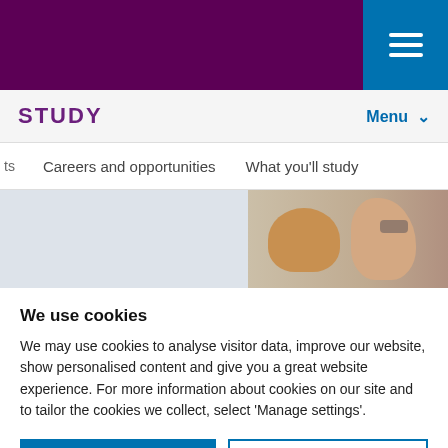STUDY — Menu navigation bar with hamburger icon
ts    Careers and opportunities    What you'll study
[Figure (photo): Cropped photo of two people, one with fair hair and another with glasses, against a light grey background]
We use cookies
We may use cookies to analyse visitor data, improve our website, show personalised content and give you a great website experience. For more information about cookies on our site and to tailor the cookies we collect, select 'Manage settings'.
I'm OK with cookies | Manage settings